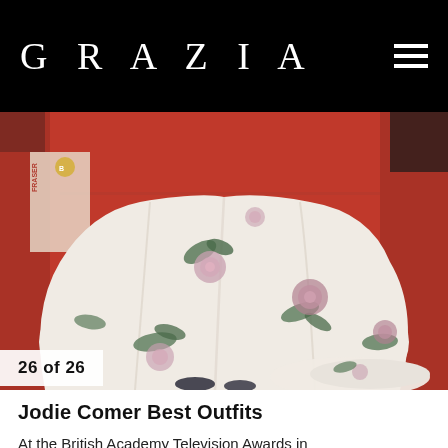GRAZIA
[Figure (photo): A woman in a flowing white satin ball gown with a floral print (pink roses, green leaves) photographed from the waist down on a red carpet at the British Academy Television Awards. The BAFTA logo and 'FRASER' signage are visible in the background.]
26 of 26
Jodie Comer Best Outfits
At the British Academy Television Awards in